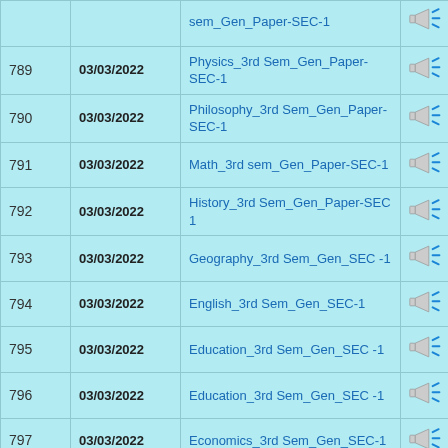| # | Date | Title | Action |
| --- | --- | --- | --- |
|  | 03/03/2022 | sem_Gen_Paper-SEC-1 |  |
| 789 | 03/03/2022 | Physics_3rd Sem_Gen_Paper-SEC-1 |  |
| 790 | 03/03/2022 | Philosophy_3rd Sem_Gen_Paper-SEC-1 |  |
| 791 | 03/03/2022 | Math_3rd sem_Gen_Paper-SEC-1 |  |
| 792 | 03/03/2022 | History_3rd Sem_Gen_Paper-SEC 1 |  |
| 793 | 03/03/2022 | Geography_3rd Sem_Gen_SEC -1 |  |
| 794 | 03/03/2022 | English_3rd Sem_Gen_SEC-1 |  |
| 795 | 03/03/2022 | Education_3rd Sem_Gen_SEC -1 |  |
| 796 | 03/03/2022 | Education_3rd Sem_Gen_SEC -1 |  |
| 797 | 03/03/2022 | Economics_3rd Sem_Gen_SEC-1 |  |
| 798 | 03/03/2022 | Computer Science_3rd Sem_Gen_SEC-1 |  |